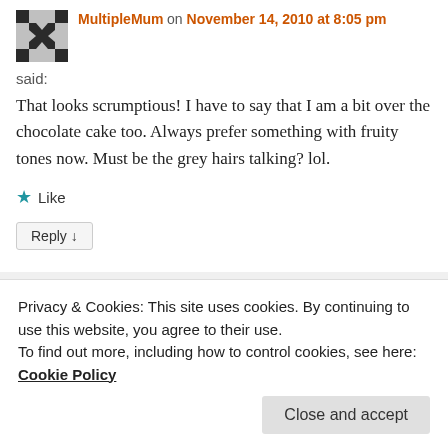[Figure (illustration): Avatar image with geometric diamond and cross pattern in black and white for user MultipleMum]
MultipleMum on November 14, 2010 at 8:05 pm
said:
That looks scrumptious! I have to say that I am a bit over the chocolate cake too. Always prefer something with fruity tones now. Must be the grey hairs talking? lol.
★ Like
Reply ↓
[Figure (illustration): Partial avatar for cityhippyfarmgirl comment below]
cityhippyfarmgirl
Privacy & Cookies: This site uses cookies. By continuing to use this website, you agree to their use.
To find out more, including how to control cookies, see here: Cookie Policy
Close and accept